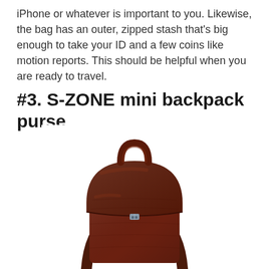iPhone or whatever is important to you. Likewise, the bag has an outer, zipped stash that's big enough to take your ID and a few coins like motion reports. This should be helpful when you are ready to travel.
#3. S-ZONE mini backpack purse
[Figure (photo): A dark brown leather mini backpack purse with a flap closure, top handle, zipper clasp, and two shoulder straps visible from the front.]